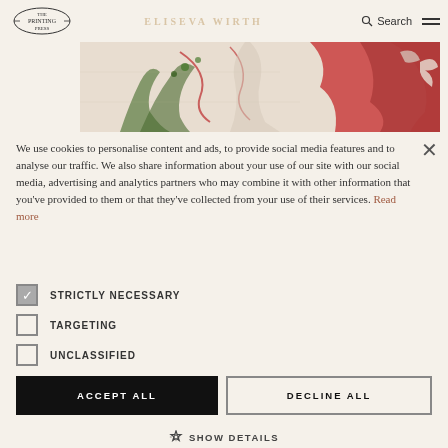Logo / Search / Menu navigation bar
[Figure (illustration): Close-up detail of a medieval illuminated manuscript painting showing figures with red and green decorative motifs]
We use cookies to personalise content and ads, to provide social media features and to analyse our traffic. We also share information about your use of our site with our social media, advertising and analytics partners who may combine it with other information that you've provided to them or that they've collected from your use of their services. Read more
STRICTLY NECESSARY
TARGETING
UNCLASSIFIED
ACCEPT ALL
DECLINE ALL
SHOW DETAILS